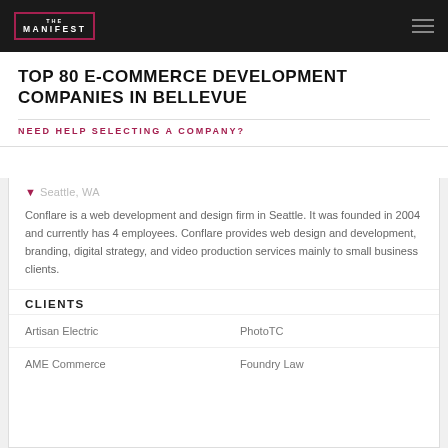THE MANIFEST
TOP 80 E-COMMERCE DEVELOPMENT COMPANIES IN BELLEVUE
NEED HELP SELECTING A COMPANY?
Seattle, WA
Conflare is a web development and design firm in Seattle. It was founded in 2004 and currently has 4 employees. Conflare provides web design and development, branding, digital strategy, and video production services mainly to small business clients.
CLIENTS
| Artisan Electric | PhotoTC |
| AME Commerce | Foundry Law |